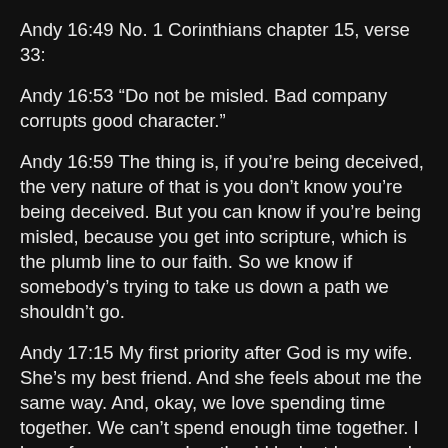Andy 16:49 No. 1 Corinthians chapter 15, verse 33:
Andy 16:53 “Do not be misled. Bad company corrupts good character.”
Andy 16:59 The thing is, if you’re being deceived, the very nature of that is you don’t know you’re being deceived. But you can know if you’re being misled, because you get into scripture, which is the plumb line to our faith. So we know if somebody’s trying to take us down a path we shouldn’t go.
Andy 17:15 My first priority after God is my wife. She’s my best friend. And she feels about me the same way. And, okay, we love spending time together. We can’t spend enough time together. I know for some couples, they’d look at how much we spend time together and they’d probably have a mental breakdown. We look at some couples and